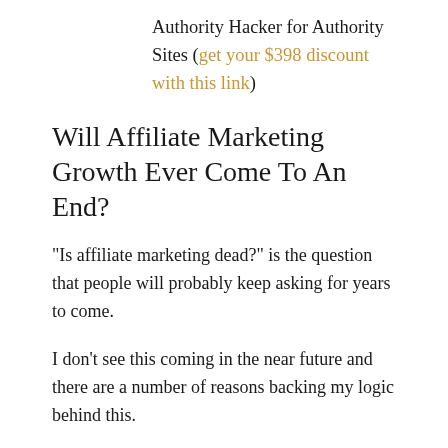Authority Hacker for Authority Sites (get your $398 discount with this link)
Will Affiliate Marketing Growth Ever Come To An End?
“Is affiliate marketing dead?” is the question that people will probably keep asking for years to come.
I don’t see this coming in the near future and there are a number of reasons backing my logic behind this.
Affiliate marketing is a much smaller